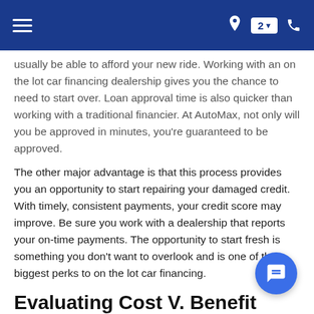≡  2 ▾  📞
usually be able to afford your new ride. Working with an on the lot car financing dealership gives you the chance to need to start over. Loan approval time is also quicker than working with a traditional financier. At AutoMax, not only will you be approved in minutes, you're guaranteed to be approved.
The other major advantage is that this process provides you an opportunity to start repairing your damaged credit. With timely, consistent payments, your credit score may improve. Be sure you work with a dealership that reports your on-time payments. The opportunity to start fresh is something you don't want to overlook and is one of the biggest perks to on the lot car financing.
Evaluating Cost V. Benefits
As with anything, there are two sides to the coin. With in-house